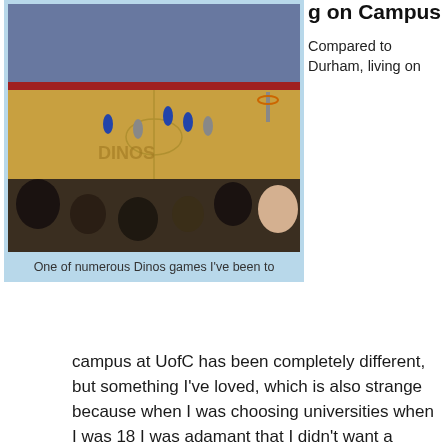[Figure (photo): Indoor basketball arena with players on a wooden court, audience in foreground and stadium seating visible in background. Dinos game at UofC.]
One of numerous Dinos games I've been to
g on Campus
Compared to Durham, living on campus at UofC has been completely different, but something I've loved, which is also strange because when I was choosing universities when I was 18 I was adamant that I didn't want a campus uni. It makes going to 9ams pretty easy (although I still dread them anyway, as I am doing with my three 8am exams next week) and it means everything is within reaching distance. UofC has a tunnel system connecting most buildings, so when the snow hits I can make my